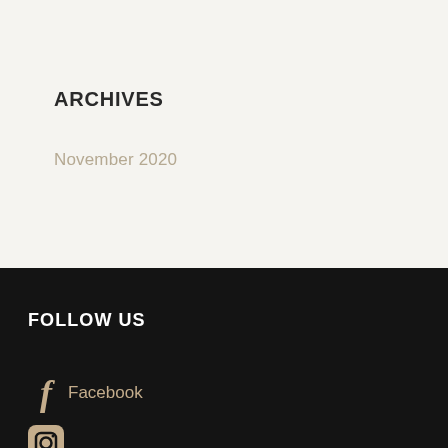ARCHIVES
November 2020
FOLLOW US
Facebook